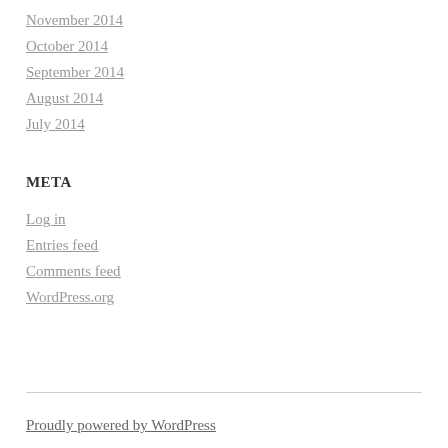November 2014
October 2014
September 2014
August 2014
July 2014
META
Log in
Entries feed
Comments feed
WordPress.org
Proudly powered by WordPress